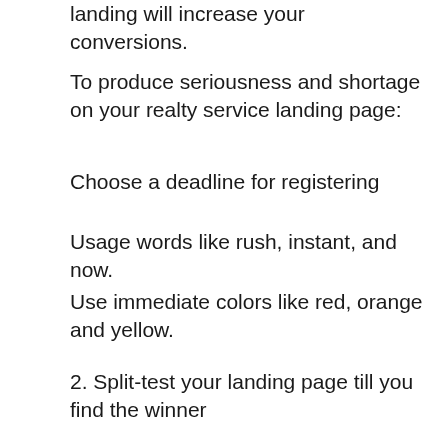using urgency and shortage on your landing will increase your conversions.
To produce seriousness and shortage on your realty service landing page:
Choose a deadline for registering
Usage words like rush, instant, and now.
Use immediate colors like red, orange and yellow.
2. Split-test your landing page till you find the winner
Split test your headings, copy, colors, text, calls-to-action and placements to get the